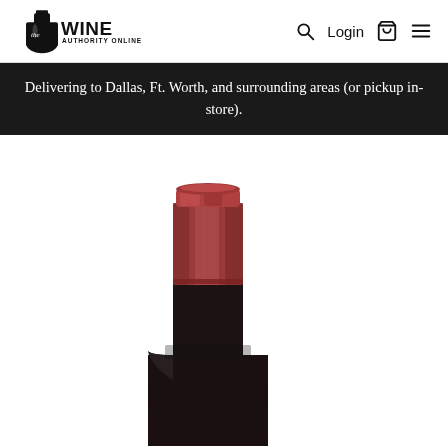[Figure (logo): The Wine Authority Online logo — black wine bottle shape with 'the WINE AUTHORITY ONLINE' text]
Login
[Figure (illustration): Navigation icons: search magnifier, shopping bag, and hamburger menu]
Delivering to Dallas, Ft. Worth, and surrounding areas (or pickup in-store).
[Figure (photo): Close-up of the neck and top of a dark wine bottle with a red/crimson foil capsule, on a white background]